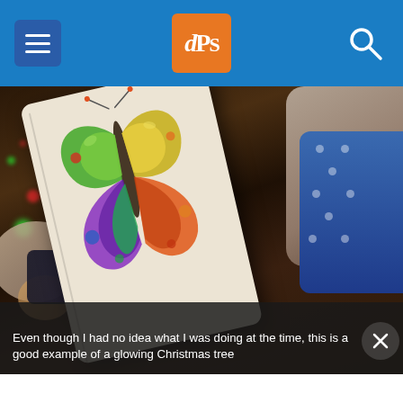dPS navigation header with hamburger menu, dPS logo, and search icon
[Figure (photo): Photograph of a colorful illustrated book (showing a butterfly/dragonfly illustration in bright greens, yellows, purples and reds) propped up among stuffed animals and toys, with bokeh Christmas tree lights in the background. A dark semi-transparent overlay at the bottom contains caption text.]
Even though I had no idea what I was doing at the time, this is a good example of a glowing Christmas tree